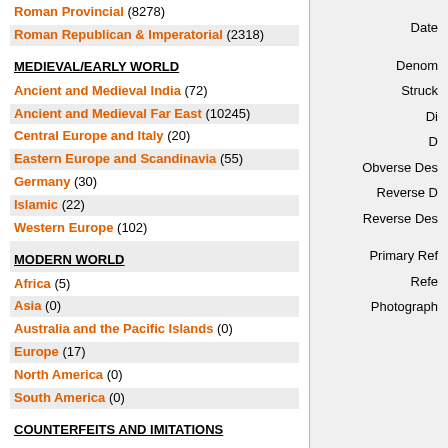Roman Provincial (8278)
Roman Republican & Imperatorial (2318)
MEDIEVAL/EARLY WORLD
Ancient and Medieval India (72)
Ancient and Medieval Far East (10245)
Central Europe and Italy (20)
Eastern Europe and Scandinavia (55)
Germany (30)
Islamic (22)
Western Europe (102)
MODERN WORLD
Africa (5)
Asia (0)
Australia and the Pacific Islands (0)
Europe (17)
North America (0)
South America (0)
COUNTERFEITS AND IMITATIONS
Ancient Imitations (444)
Modern Forgeries of Ancient Coins (19)
Date
Denomination
Struck
Di
D
Obverse Des
Reverse D
Reverse Des
Primary Ref
References
Photograph